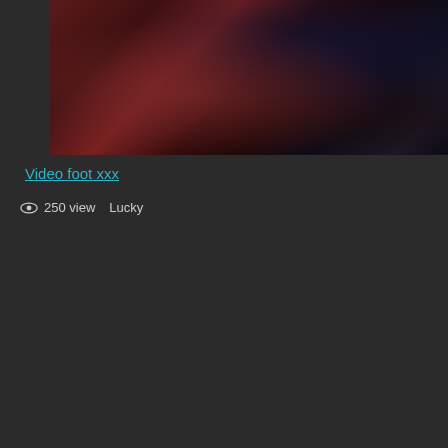[Figure (photo): Dark video thumbnail showing a dimly lit scene with reddish-brown tones, couch visible in background]
Video foot xxx
👁 250 view   Lucky
[Figure (photo): Video thumbnail showing a person from behind in a bedroom setting with a lamp on the right side]